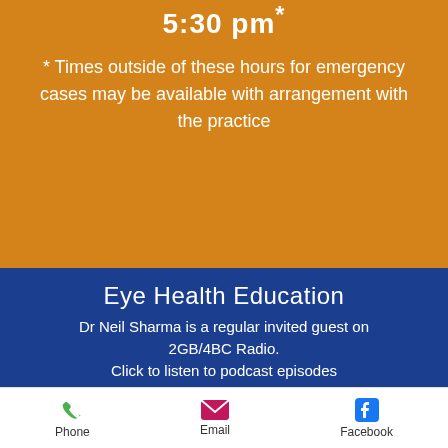5:30 pm*
* Times outside of these hours for emergency cases may be available with arrangement with the practice
Eye Health Education
Dr Neil Sharma is a regular invited guest on 2GB/4BC Radio. Click to listen to podcast episodes
Phone | Email | Facebook